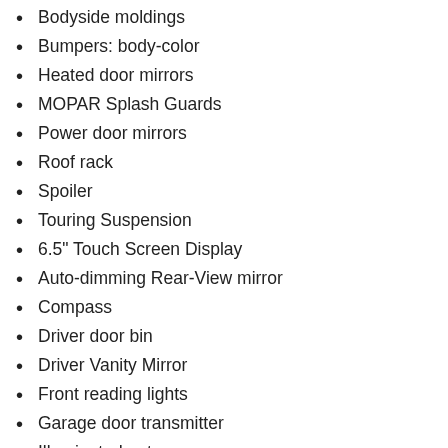Bodyside moldings
Bumpers: body-color
Heated door mirrors
MOPAR Splash Guards
Power door mirrors
Roof rack
Spoiler
Touring Suspension
6.5" Touch Screen Display
Auto-dimming Rear-View mirror
Compass
Driver door bin
Driver Vanity Mirror
Front reading lights
Garage door transmitter
Illuminated entry
Leather Shift Knob
Outside temperature display